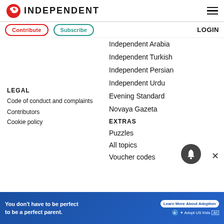INDEPENDENT
Contribute  Subscribe  LOGIN
Independent Arabia
Independent Turkish
Independent Persian
Independent Urdu
Evening Standard
Novaya Gazeta
LEGAL
EXTRAS
Code of conduct and complaints
Puzzles
Contributors
All topics
Cookie policy
Voucher codes
[Figure (other): Advertisement banner: You don't have to be perfect to be a perfect parent. Learn More About Adoption. Adopt US Kids.]